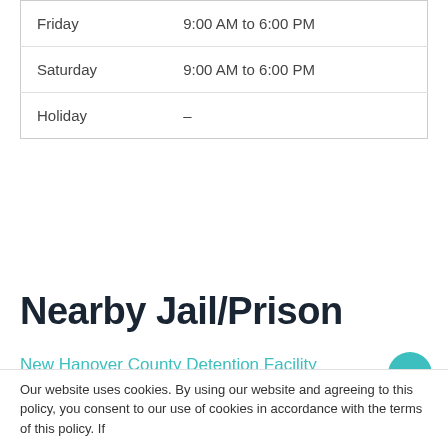| Day | Hours |
| --- | --- |
| Friday | 9:00 AM to 6:00 PM |
| Saturday | 9:00 AM to 6:00 PM |
| Holiday | – |
Nearby Jail/Prison
New Hanover County Detention Facility
Navassa City Jail
Carolina Beach City Jail
Topsail Beach City Jail
Kure Beach City Jail
Surf City City Jail
Southport City Jail
Holly Ridge City Jail
Our website uses cookies. By using our website and agreeing to this policy, you consent to our use of cookies in accordance with the terms of this policy. If